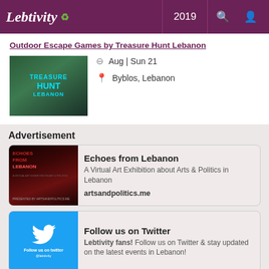Lebtivity 2019
Outdoor Escape Games by Treasure Hunt Lebanon
Aug | Sun 21
Byblos, Lebanon
Advertisement
[Figure (illustration): Echoes from Lebanon advertisement banner with red and dark background showing a running figure silhouette]
Echoes from Lebanon
A Virtual Art Exhibition about Arts & Politics in Lebanon
artsandpolitics.me
[Figure (illustration): Follow us on Twitter card with light blue background and Twitter bird icon]
Follow us on Twitter
Lebtivity fans! Follow us on Twitter & stay updated on the latest events in Lebanon!